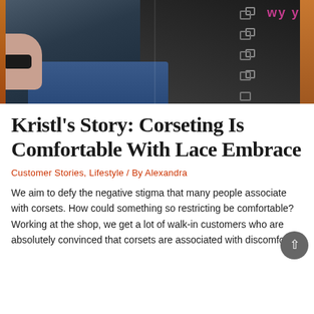[Figure (photo): Two people wearing dark corsets. Left person wears a dark grey/blue corset with buckles over jeans, with a black cuff bracelet visible on wrist. Right person wears a black corset with pink lettering/embroidery visible at top.]
Kristl's Story: Corseting Is Comfortable With Lace Embrace
Customer Stories, Lifestyle / By Alexandra
We aim to defy the negative stigma that many people associate with corsets. How could something so restricting be comfortable? Working at the shop, we get a lot of walk-in customers who are absolutely convinced that corsets are associated with discomfort